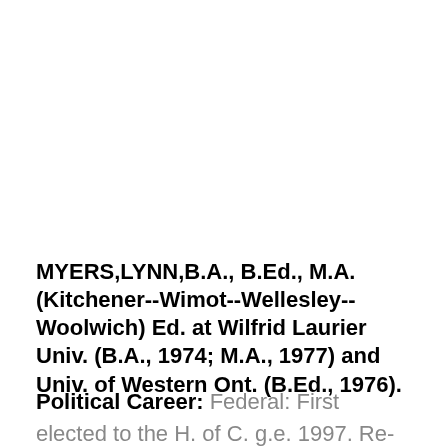MYERS,LYNN,B.A., B.Ed., M.A. (Kitchener--Wimot--Wellesley--Woolwich) Ed. at Wilfrid Laurier Univ. (B.A., 1974; M.A., 1977) and Univ. of Western Ont. (B.Ed., 1976).
Political Career: Federal: First elected to the H. of C. g.e. 1997. Re-